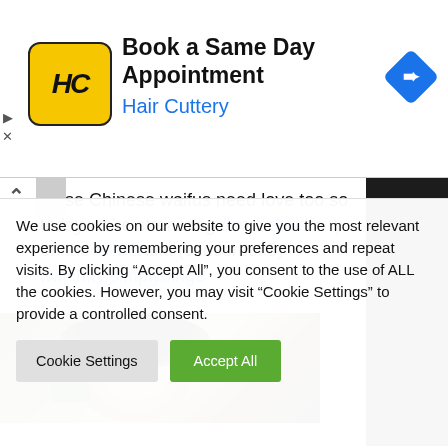[Figure (screenshot): Hair Cuttery ad banner with yellow logo showing 'HC', title 'Book a Same Day Appointment', subtitle 'Hair Cuttery', and a blue diamond navigation arrow icon on the right.]
These Chinese waifus need love too so today we're streaming #swordandfairy on the #PS5 aka (censorbox5) twitch.tv/simplybinge
[Figure (photo): A character from a video game showing face with dark hair and green accessories, partial view]
We use cookies on our website to give you the most relevant experience by remembering your preferences and repeat visits. By clicking "Accept All", you consent to the use of ALL the cookies. However, you may visit "Cookie Settings" to provide a controlled consent.